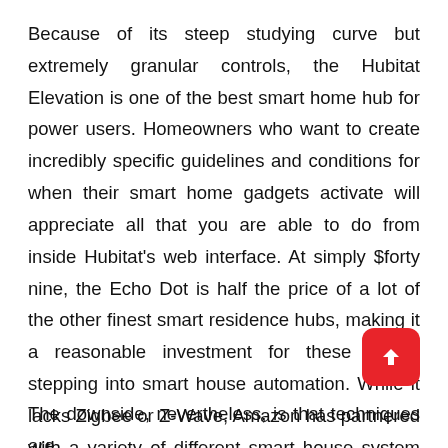Because of its steep studying curve but extremely granular controls, the Hubitat Elevation is one of the best smart home hub for power users. Homeowners who want to create incredibly specific guidelines and conditions for when their smart home gadgets activate will appreciate all that you are able to do from inside Hubitat's web interface. At simply $forty nine, the Echo Dot is half the price of a lot of the other finest smart residence hubs, making it a reasonable investment for these simply stepping into smart house automation. While it lacks Zigbee or Z-Wave, Amazon has partnered with a variety of different smart house system makers to make it simple to attach their merchandise by way of Wi-Fi.
[Figure (other): Red rounded square button with white upward arrow icon (scroll to top button)]
The downside, nevertheless, is that techniques are